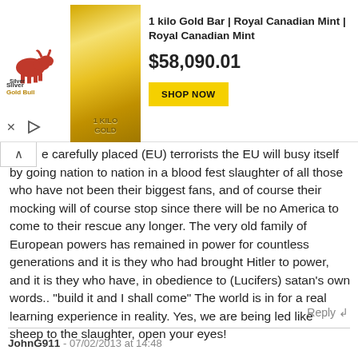[Figure (other): Silver Gold Bull advertisement banner showing a 1 kilo gold bar product with price $58,090.01 and Shop Now button]
e carefully placed (EU) terrorists the EU will busy itself by going nation to nation in a blood fest slaughter of all those who have not been their biggest fans, and of course their mocking will of course stop since there will be no America to come to their rescue any longer. The very old family of European powers has remained in power for countless generations and it is they who had brought Hitler to power, and it is they who have, in obedience to (Lucifers) satan's own words.. "build it and I shall come" The world is in for a real learning experience in reality. Yes, we are being led like sheep to the slaughter, open your eyes!
Reply ↲
JohnG911 - 07/02/2013 at 14:48